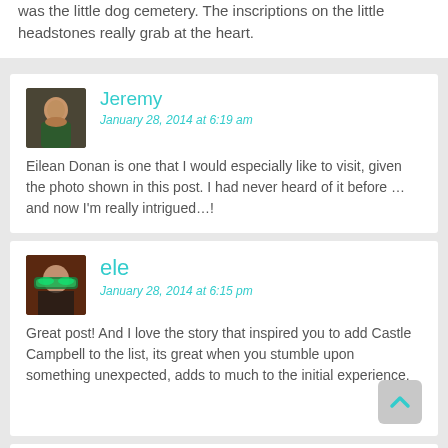was the little dog cemetery. The inscriptions on the little headstones really grab at the heart.
Jeremy
January 28, 2014 at 6:19 am
Eilean Donan is one that I would especially like to visit, given the photo shown in this post. I had never heard of it before … and now I'm really intrigued…!
ele
January 28, 2014 at 6:15 pm
Great post! And I love the story that inspired you to add Castle Campbell to the list, its great when you stumble upon something unexpected, adds to much to the initial experience.